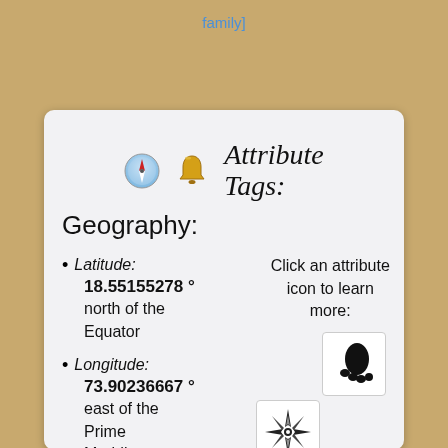family]
[Figure (screenshot): App interface showing Geography section with compass and bell icons, 'Attribute Tags:' heading, latitude 18.55155278° north of the Equator, longitude 73.90236667° east of the Prime Meridian, and attribute icons including compass rose, footprint, globe, and ID card.]
Geography:
Attribute Tags:
Latitude: 18.55155278 ° north of the Equator
Click an attribute icon to learn more:
Longitude: 73.90236667 ° east of the Prime Meridian